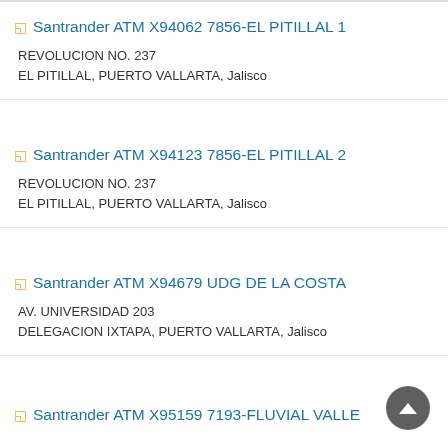Santrander ATM X94062 7856-EL PITILLAL 1
REVOLUCION NO. 237
EL PITILLAL, PUERTO VALLARTA, Jalisco
Santrander ATM X94123 7856-EL PITILLAL 2
REVOLUCION NO. 237
EL PITILLAL, PUERTO VALLARTA, Jalisco
Santrander ATM X94679 UDG DE LA COSTA
AV. UNIVERSIDAD 203
DELEGACION IXTAPA, PUERTO VALLARTA, Jalisco
Santrander ATM X95159 7193-FLUVIAL VALLE